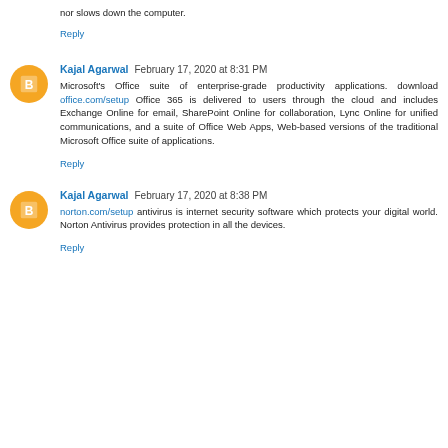nor slows down the computer.
Reply
Kajal Agarwal  February 17, 2020 at 8:31 PM
Microsoft's Office suite of enterprise-grade productivity applications. download office.com/setup Office 365 is delivered to users through the cloud and includes Exchange Online for email, SharePoint Online for collaboration, Lync Online for unified communications, and a suite of Office Web Apps, Web-based versions of the traditional Microsoft Office suite of applications.
Reply
Kajal Agarwal  February 17, 2020 at 8:38 PM
norton.com/setup antivirus is internet security software which protects your digital world. Norton Antivirus provides protection in all the devices.
Reply